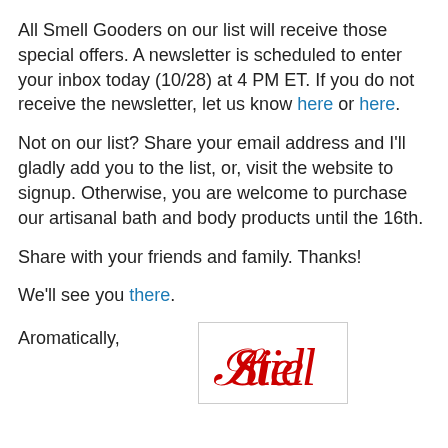All Smell Gooders on our list will receive those special offers. A newsletter is scheduled to enter your inbox today (10/28) at 4 PM ET. If you do not receive the newsletter, let us know here or here.
Not on our list? Share your email address and I'll gladly add you to the list, or, visit the website to signup. Otherwise, you are welcome to purchase our artisanal bath and body products until the 16th.
Share with your friends and family. Thanks!
We'll see you there.
Aromatically,
[Figure (illustration): Cursive red signature reading 'Stiel' in an ornate script style, inside a light-bordered box]